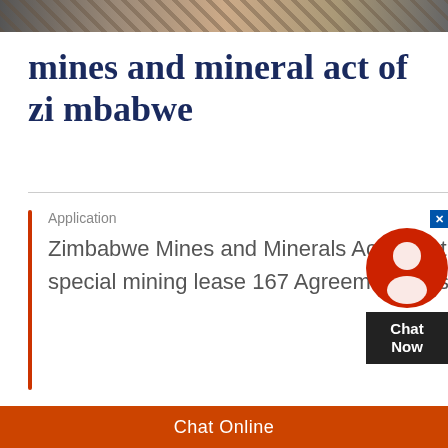[Figure (photo): Top banner image showing mining-related scene with rocks and machinery in dark tones]
mines and mineral act of zimbabwe
Application
Zimbabwe Mines and Minerals Act Ministry of Mines 166 Issue of mining lease instead of special mining lease 167 Agreement re issue of special mining lease 168
[Figure (other): Chat Now widget with red circular avatar icon and dark Chat Now label]
Chat Online